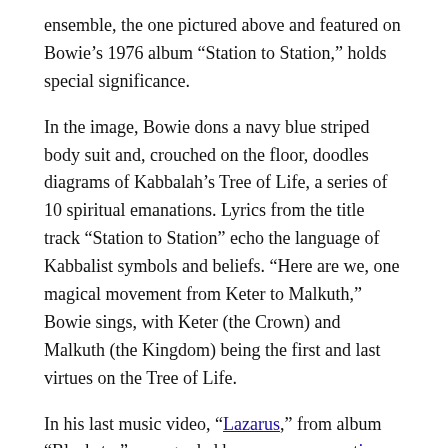ensemble, the one pictured above and featured on Bowie’s 1976 album “Station to Station,” holds special significance.
In the image, Bowie dons a navy blue striped body suit and, crouched on the floor, doodles diagrams of Kabbalah’s Tree of Life, a series of 10 spiritual emanations. Lyrics from the title track “Station to Station” echo the language of Kabbalist symbols and beliefs. “Here are we, one magical movement from Keter to Malkuth,” Bowie sings, with Keter (the Crown) and Malkuth (the Kingdom) being the first and last virtues on the Tree of Life.
In his last music video, “Lazarus,” from album “Blackstar” — regarded by many as a cryptic goodbye letter to his fans — Bowie whips out the exact jumpsuit worn in the 1974 image, visible around the two-minute mark. Just as Bowie doodled obsessively in the ’70s photo shoot, in 2016 Bowie scribbles feverishly in a notebook, heightening in intensity until finally he appears to come to a conclusion, finishing his